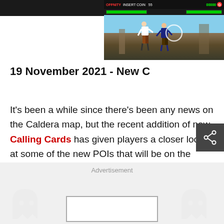[Figure (screenshot): Game screenshot showing a fighting game with HUD bar at top (health bars, OFFNITY logo, INSERT COIN text, score 00000), two fighter characters in combat in a temple/courtyard setting, with a circular target indicator]
19 November 2021 - New C…
It's been a while since there's been any news on the Caldera map, but the recent addition of new Calling Cards has given players a closer look at some of the new POIs that will be on the map, including a huge hotel complex and a secluded fishing village.
Advertisement